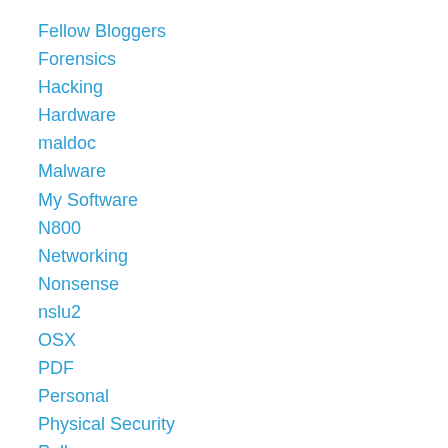Fellow Bloggers
Forensics
Hacking
Hardware
maldoc
Malware
My Software
N800
Networking
Nonsense
nslu2
OSX
PDF
Personal
Physical Security
Poll
Puzzle
Quickpost
Release
Reverse Engineering